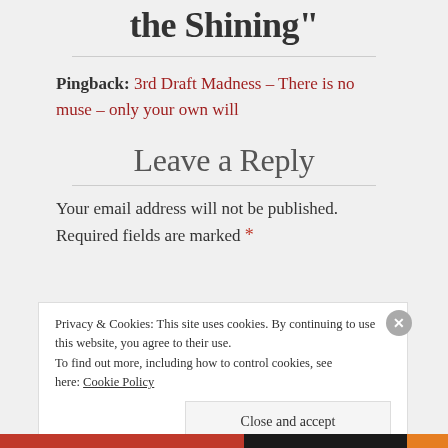the Shining"
Pingback: 3rd Draft Madness – There is no muse – only your own will
Leave a Reply
Your email address will not be published. Required fields are marked *
Privacy & Cookies: This site uses cookies. By continuing to use this website, you agree to their use.
To find out more, including how to control cookies, see here: Cookie Policy
Close and accept